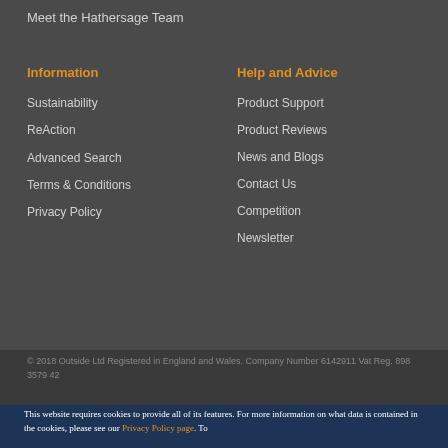Meet the Hathersage Team
Information
Sustainability
ReAction
Advanced Search
Terms & Conditions
Privacy Policy
Help and Advice
Product Support
Product Reviews
News and Blogs
Contact Us
Competition
Newsletter
© 2018 Outside Ltd Registered in England and Wales. Company Number 6142911 Vat Reg. 898 3579 42
This website requires cookies to provide all of its features. For more information on what data is contained in the cookies, please see our Privacy Policy page. To